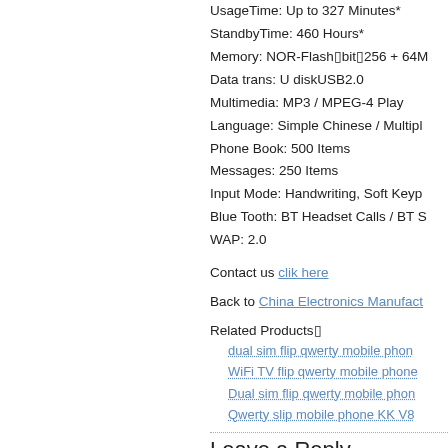UsageTime: Up to 327 Minutes*
StandbyTime: 460 Hours*
Memory: NOR-Flash■bit■256 + 64M
Data trans: U diskUSB2.0
Multimedia: MP3 / MPEG-4 Play
Language: Simple Chinese / Multipl
Phone Book: 500 Items
Messages: 250 Items
Input Mode: Handwriting, Soft Keyp
Blue Tooth: BT Headset Calls / BT S
WAP: 2.0
Contact us clik here
Back to China Electronics Manufactu
Related Products■
dual sim flip qwerty mobile phon
WiFi TV flip qwerty mobile phone
Dual sim flip qwerty mobile phon
Qwerty slip mobile phone KK V8
Leave a Reply